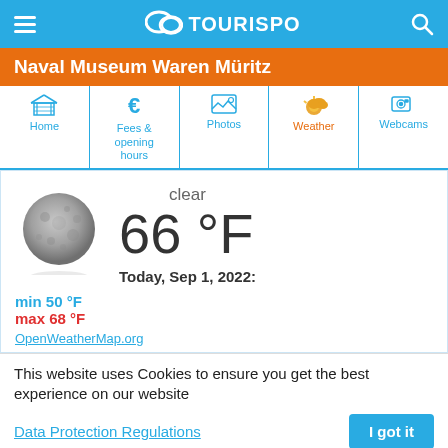TouriSpo
Naval Museum Waren Müritz
[Figure (screenshot): Navigation bar with icons: Home, Fees & opening hours, Photos, Weather (active), Webcams]
[Figure (infographic): Weather widget showing full moon, clear, 66 °F, Today Sep 1 2022, min 50 °F, max 68 °F]
This website uses Cookies to ensure you get the best experience on our website
Data Protection Regulations
I got it